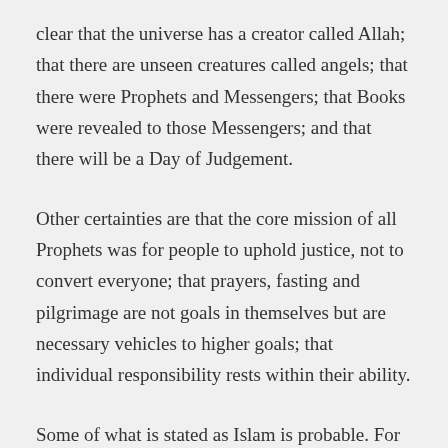clear that the universe has a creator called Allah; that there are unseen creatures called angels; that there were Prophets and Messengers; that Books were revealed to those Messengers; and that there will be a Day of Judgement.
Other certainties are that the core mission of all Prophets was for people to uphold justice, not to convert everyone; that prayers, fasting and pilgrimage are not goals in themselves but are necessary vehicles to higher goals; that individual responsibility rests within their ability.
Some of what is stated as Islam is probable. For example, from the Quran it is not clear if there are other creatures on other planets, though when reading you get